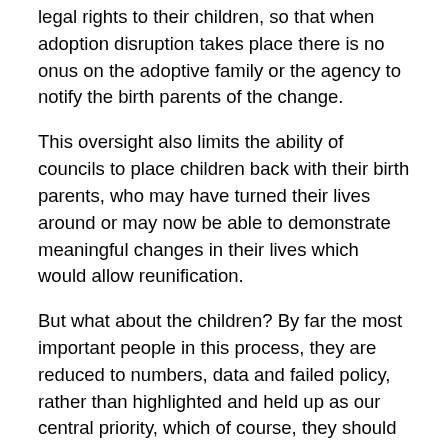legal rights to their children, so that when adoption disruption takes place there is no onus on the adoptive family or the agency to notify the birth parents of the change.
This oversight also limits the ability of councils to place children back with their birth parents, who may have turned their lives around or may now be able to demonstrate meaningful changes in their lives which would allow reunification.
But what about the children? By far the most important people in this process, they are reduced to numbers, data and failed policy, rather than highlighted and held up as our central priority, which of course, they should be.
We already know that an unprecedented number of children are being bounced around the care system, and